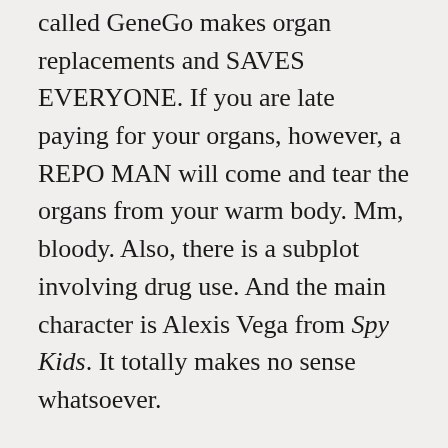called GeneGo makes organ replacements and SAVES EVERYONE. If you are late paying for your organs, however, a REPO MAN will come and tear the organs from your warm body. Mm, bloody. Also, there is a subplot involving drug use. And the main character is Alexis Vega from Spy Kids. It totally makes no sense whatsoever.
However, there was something about the aesthetic of Sarah Brightman's (ick ick ick I really dislike her what can I say) Blind Mag character that I just could not shake. So I bought some gray colored contacts to approximate her mechanical eyes, and I got a long black wig, and I commissioned someone (Nancy aka Hemlock Emporium who hangs out